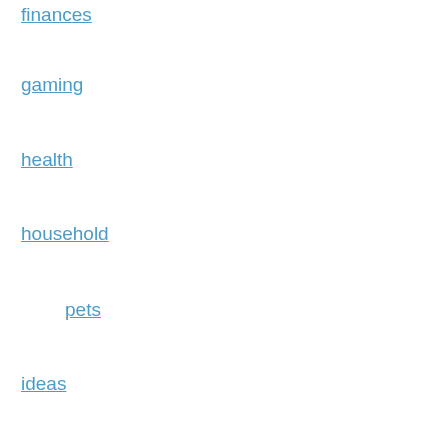finances
gaming
health
household
pets
ideas
images
learning
ministry
movies
music
news
other
politics
productivity